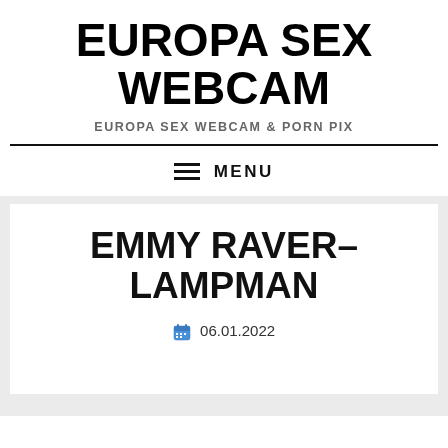EUROPA SEX WEBCAM
EUROPA SEX WEBCAM & PORN PIX
≡ MENU
EMMY RAVER-LAMPMAN
06.01.2022